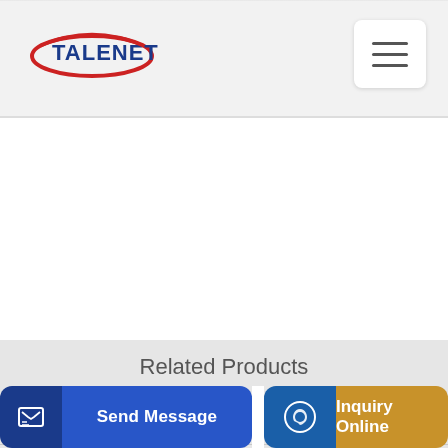[Figure (logo): Talenet company logo with red oval swoosh and blue text]
Related Products
chiltern concrete pumping limited 07732184
CIFA Concrete Pump Enters Indonesia For the First
Send Message
Inquiry Online